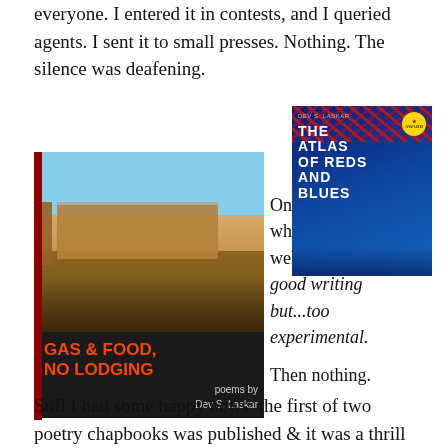everyone. I entered it in contests, and I queried agents. I sent it to small presses. Nothing. The silence was deafening.
[Figure (photo): Book cover of 'Gas & Food, No Lodging' poems by Dev S. Laskar, with a photo of a gas station on the cover and black background with red-orange title text]
Once, after a long while, I received a well-meaning letter, good writing but...too experimental.
[Figure (photo): Photo of 'The Atlas of Reds and Blues' book by Dev S. Laskar, a blue book with red floral cover decorations and gold badge]
Then nothing.
Still I had some happy news: the first of two poetry chapbooks was published & it was a thrill to see some of my favorite poems published in one book: Gas & Food, No Lodging.